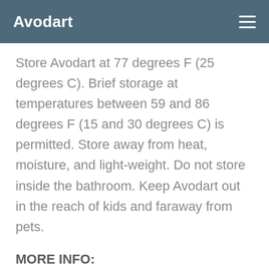Avodart
Store Avodart at 77 degrees F (25 degrees C). Brief storage at temperatures between 59 and 86 degrees F (15 and 30 degrees C) is permitted. Store away from heat, moisture, and light-weight. Do not store inside the bathroom. Keep Avodart out in the reach of kids and faraway from pets.
MORE INFO:
Active Ingredient: Dutasteride.